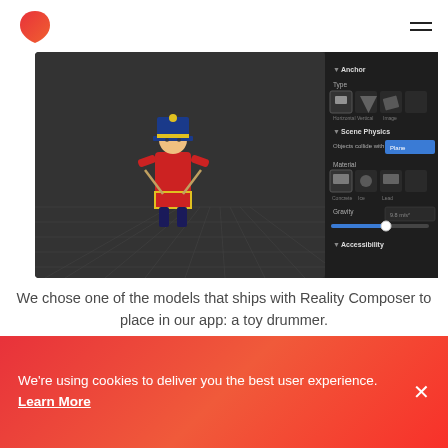[Figure (screenshot): Screenshot of Reality Composer application showing a toy soldier/drummer 3D model on a dark grid surface, with a properties panel on the right showing Anchor type options (Horizontal, Vertical, Image), Scene Physics settings with 'Objects collide with: Plane', Material options (Concrete, Ice, Lead), a Gravity slider, and an Accessibility section.]
We chose one of the models that ships with Reality Composer to place in our app: a toy drummer.
We're using cookies to deliver you the best user experience. Learn More